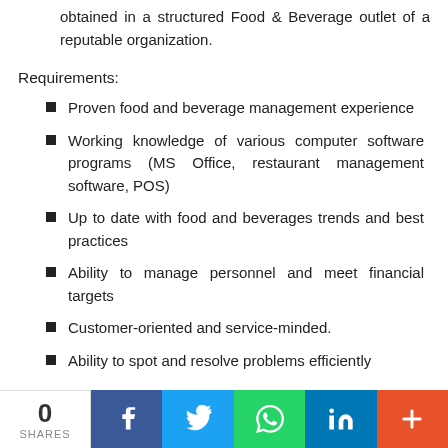obtained in a structured Food & Beverage outlet of a reputable organization.
Requirements:
Proven food and beverage management experience
Working knowledge of various computer software programs (MS Office, restaurant management software, POS)
Up to date with food and beverages trends and best practices
Ability to manage personnel and meet financial targets
Customer-oriented and service-minded.
Ability to spot and resolve problems efficiently
0 SHARES | Facebook | Twitter | WhatsApp | LinkedIn | More